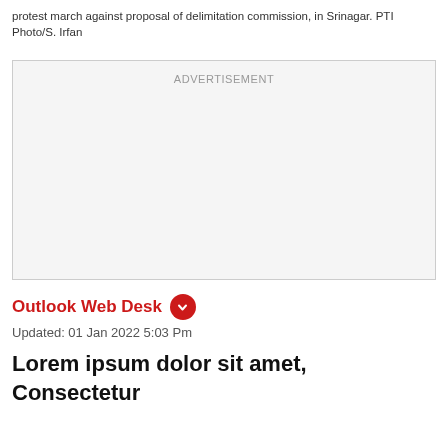protest march against proposal of delimitation commission, in Srinagar. PTI Photo/S. Irfan
[Figure (other): Advertisement placeholder box with grey background and 'ADVERTISEMENT' label at top center]
Outlook Web Desk
Updated: 01 Jan 2022 5:03 Pm
Lorem ipsum dolor sit amet, Consectetur